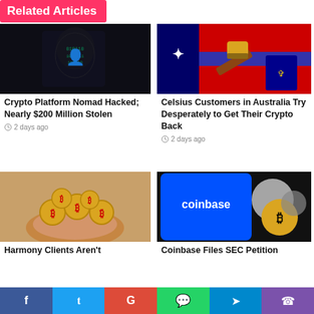Related Articles
[Figure (photo): Dark hooded hacker figure with digital code background]
Crypto Platform Nomad Hacked; Nearly $200 Million Stolen
2 days ago
[Figure (photo): Australian flag with a judge's gavel and law book]
Celsius Customers in Australia Try Desperately to Get Their Crypto Back
2 days ago
[Figure (photo): Hands holding gold bitcoin coins]
Harmony Clients Aren't
[Figure (photo): Coinbase logo on phone screen with crypto coins]
Coinbase Files SEC Petition